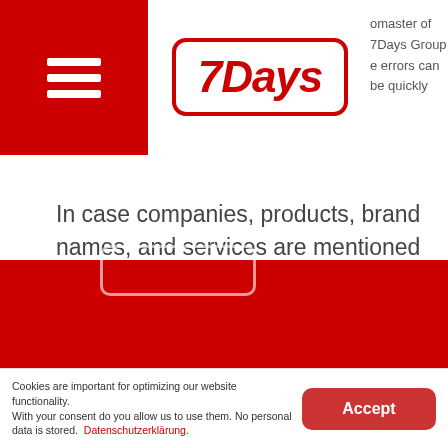7Days Group — omaster of 7Days Group — errors can be quickly
In case companies, products, brand names, and services are mentioned or links placed to third-party offers, this must not be considered a recommendation by 7Days Group GmbH & Co. KG.
Cookies are important for optimizing our website functionality. With your consent do you allow us to use them. No personal data is stored. Datenschutzerklärung. Accept